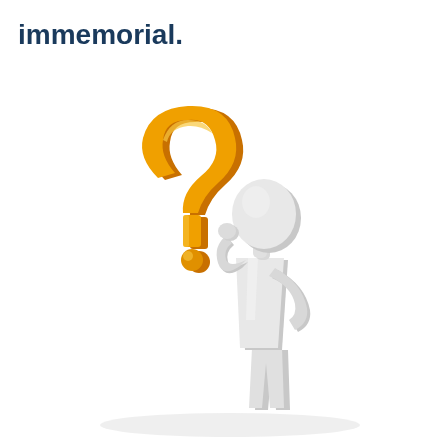immemorial.
[Figure (illustration): A 3D white featureless humanoid figure standing with one hand raised to its head in a thinking/confused pose and the other hand on its hip, standing next to a large golden/orange 3D question mark symbol.]